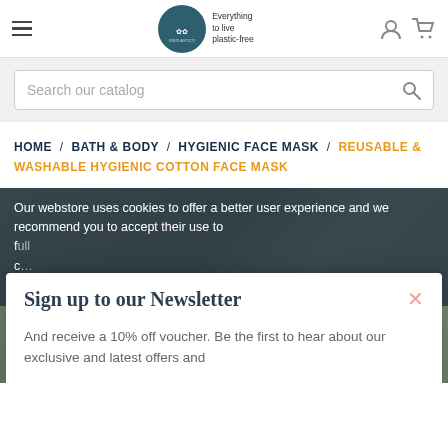≡  [SINPLASTICO logo] Everything to live plastic-free  [user icon] [cart icon]
Search our catalog
HOME / BATH & BODY / HYGIENIC FACE MASK / REUSABLE & WASHABLE HYGIENIC COTTON FACE MASK
Our webstore uses cookies to offer a better user experience and we recommend you to accept their use to f... c... T...
Sign up to our Newsletter
And receive a 10% off voucher. Be the first to hear about our exclusive and latest offers and